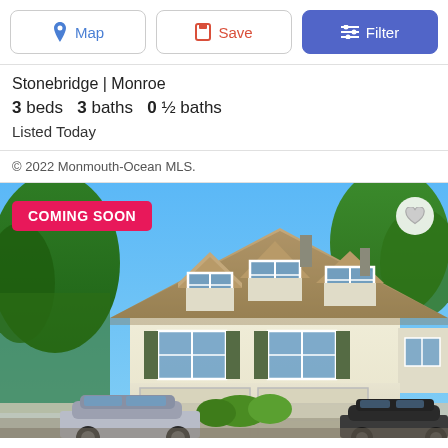[Figure (screenshot): Toolbar with Map, Save, and Filter buttons]
Stonebridge | Monroe
3 beds  3 baths  0 ½ baths
Listed Today
© 2022 Monmouth-Ocean MLS.
[Figure (photo): Exterior photo of a two-story colonial-style home with three dormer windows, tan siding, two-car garage, green trees, and two cars in driveway. A pink 'COMING SOON' badge is overlaid in top-left corner and a heart icon in top-right.]